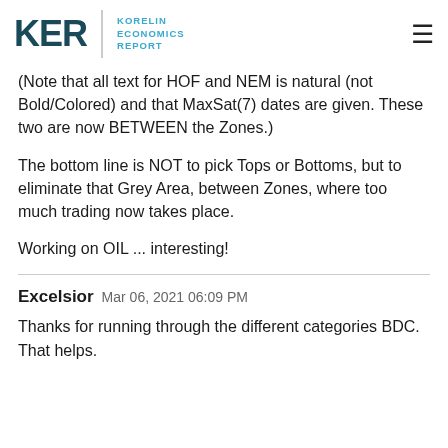KER | KORELIN ECONOMICS REPORT
(Note that all text for HOF and NEM is natural (not Bold/Colored) and that MaxSat(7) dates are given. These two are now BETWEEN the Zones.)
The bottom line is NOT to pick Tops or Bottoms, but to eliminate that Grey Area, between Zones, where too much trading now takes place.
Working on OIL ... interesting!
Excelsior  Mar 06, 2021 06:09 PM
Thanks for running through the different categories BDC. That helps.